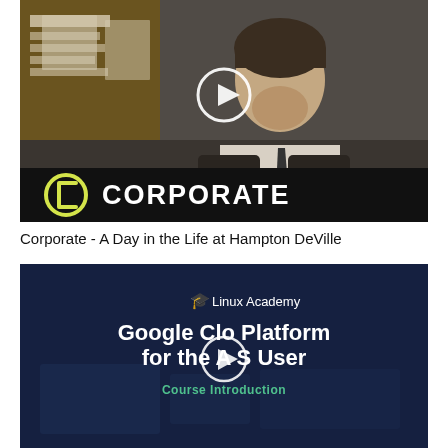[Figure (screenshot): Video thumbnail for 'Corporate' Comedy Central show. Man in suit and tie sitting at desk, cork board visible behind. Large white play button overlaid in center. Bottom bar shows Comedy Central logo and 'CORPORATE' in white bold text on black background.]
Corporate - A Day in the Life at Hampton DeVille
[Figure (screenshot): Video thumbnail for Linux Academy 'Google Cloud Platform for the AWS User - Course Introduction'. Dark navy background with Linux Academy logo (graduation cap icon) and text. Large white title text. Green 'Course Introduction' subtitle. White play button overlaid in center.]